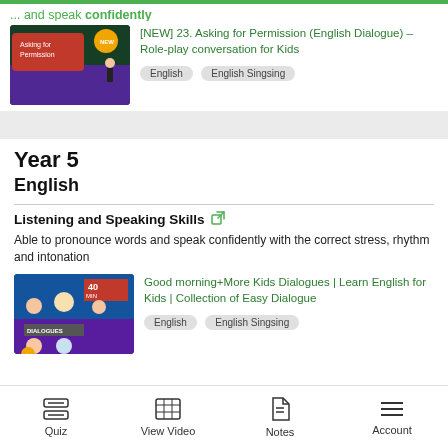...confidently
[Figure (screenshot): Video thumbnail for Asking for Permission English Dialogue role-play for kids, showing animated cartoon characters]
[NEW] 23. Asking for Permission (English Dialogue) – Role-play conversation for Kids
English   English Singsing
Year 5
English
Listening and Speaking Skills
Able to pronounce words and speak confidently with the correct stress, rhythm and intonation
[Figure (screenshot): Video thumbnail showing cartoon kids dialogues collection, 40 min, Easy Dialogue]
Good morning+More Kids Dialogues | Learn English for Kids | Collection of Easy Dialogue
English   English Singsing
Quiz   View Video   Notes   Account